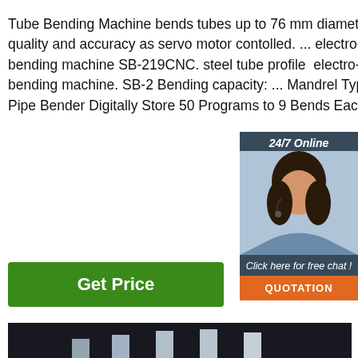Tube Bending Machine bends tubes up to 76 mm diameter with high quality and accuracy as servo motor contolled. ... electro-hydraulic bending machine SB-219CNC. steel tube profile electro-hydraulic bending machine. SB-2 Bending capacity: ... Mandrel Type Rotary Pipe Bender Digitally Store 50 Programs to 9 Bends Each ...
[Figure (photo): Customer service agent woman with headset, 24/7 Online chat widget with QUOTATION button]
[Figure (photo): Green Get Price button]
[Figure (photo): Metal angle profile fins arranged in a row on dark background, with TOP logo overlay]